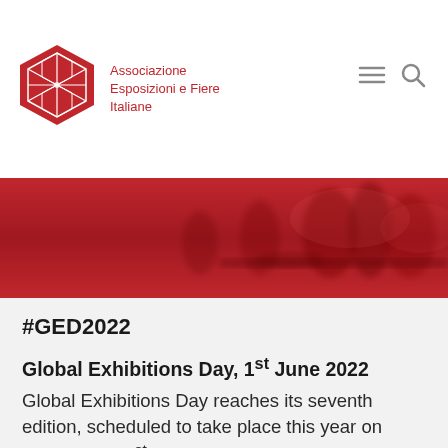[Figure (logo): Associazione Esposizioni e Fiere Italiane logo — red diamond/rhombus geometric shape with white line art, red text name beside it]
Associazione Esposizioni e Fiere Italiane
[Figure (photo): Red-tinted banner photo showing people at an exhibition/conference, background is dark red]
#GED2022
Global Exhibitions Day, 1st June 2022
Global Exhibitions Day reaches its seventh edition, scheduled to take place this year on Wednesday 1st June. Ever since it was first established by UFI, the event has represented an opportunity for dialogue and visibility for the global exhibition industry, amplifying values, new developments, solidarity and trust